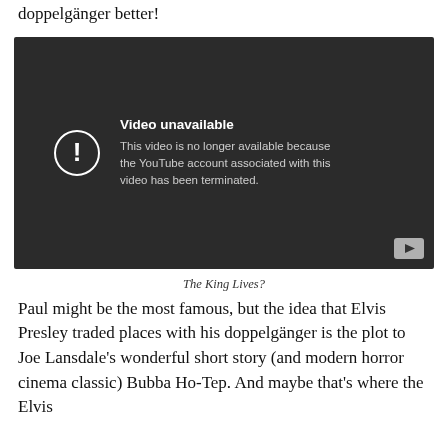doppelgänger better!
[Figure (screenshot): YouTube video embed showing 'Video unavailable' error message. Dark background with exclamation icon in circle. Text reads: 'Video unavailable. This video is no longer available because the YouTube account associated with this video has been terminated.' YouTube play button icon in bottom right corner.]
The King Lives?
Paul might be the most famous, but the idea that Elvis Presley traded places with his doppelgänger is the plot to Joe Lansdale's wonderful short story (and modern horror cinema classic) Bubba Ho-Tep. And maybe that's where the Elvis